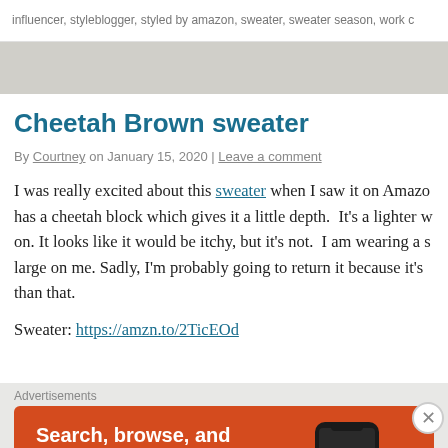influencer, styleblogger, styled by amazon, sweater, sweater season, work c
Cheetah Brown sweater
By Courtney on January 15, 2020 | Leave a comment
I was really excited about this sweater when I saw it on Amazon. It has a cheetah block which gives it a little depth.  It's a lighter w on. It looks like it would be itchy, but it's not.  I am wearing a s large on me. Sadly, I'm probably going to return it because it's than that.
Sweater: https://amzn.to/2TicEOd
[Figure (photo): Brown photo strip at bottom of article]
Advertisements
[Figure (infographic): DuckDuckGo advertisement banner: Search, browse, and email with more privacy. All in One Free App. Shows phone with DuckDuckGo logo.]